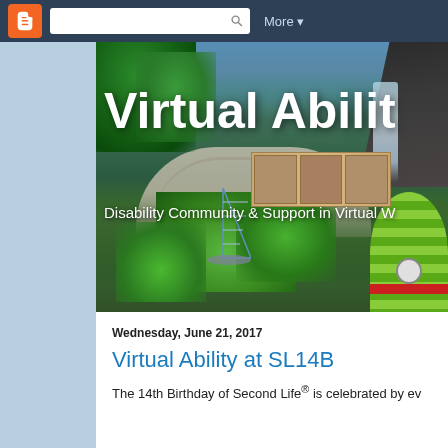Blogger navigation bar with logo, search box, and More menu
[Figure (screenshot): Virtual Ability blog header banner image showing a virtual world scene with palm trees, a curved colonnade bridge, waterfall, tropical vegetation, a sailboat, and a large striped ornamental ball. White text overlay reads 'Virtual Abilit' (cropped) and 'Disability Community & Support in Virtual W' (cropped).]
Wednesday, June 21, 2017
Virtual Ability at SL14B
The 14th Birthday of Second Life® is celebrated by ev